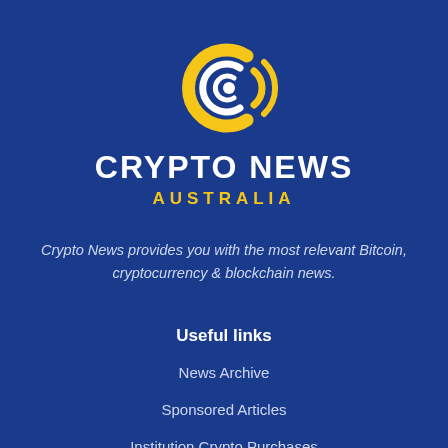[Figure (logo): Crypto News Australia logo — a stylized golden C shape with circular radio-signal arcs, white inner circle and dot]
CRYPTO NEWS
AUSTRALIA
Crypto News provides you with the most relevant Bitcoin, cryptocurrency & blockchain news.
Useful links
News Archive
Sponsored Articles
Institution Crypto Purchases